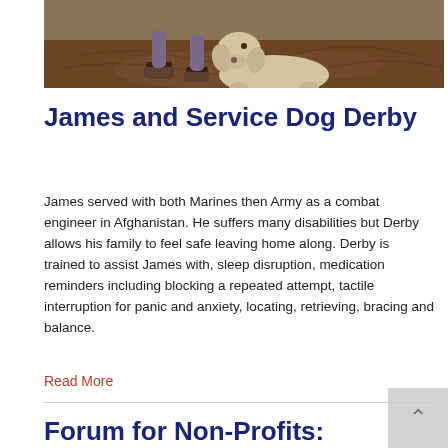[Figure (photo): Photo of a person wearing sandals sitting with a large light-colored service dog on a patterned rug/floor]
James and Service Dog Derby
James served with both Marines then Army as a combat engineer in Afghanistan. He suffers many disabilities but Derby allows his family to feel safe leaving home along. Derby is trained to assist James with, sleep disruption, medication reminders including blocking a repeated attempt, tactile interruption for panic and anxiety, locating, retrieving, bracing and balance.
Read More
Forum for Non-Profits: Guests: